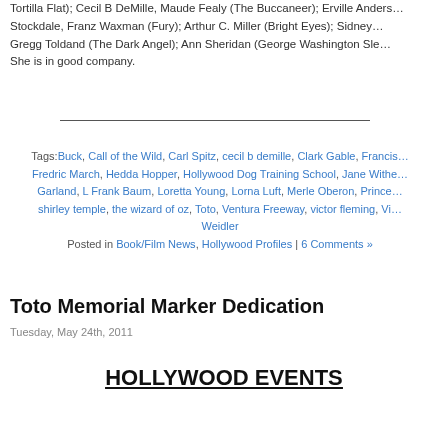Tortilla Flat); Cecil B DeMille, Maude Fealy (The Buccaneer); Erville Ander... Stockdale, Franz Waxman (Fury); Arthur C. Miller (Bright Eyes); Sidney ... Gregg Toldand (The Dark Angel); Ann Sheridan (George Washington Sle... She is in good company.
Tags: Buck, Call of the Wild, Carl Spitz, cecil b demille, Clark Gable, Francis... Fredric March, Hedda Hopper, Hollywood Dog Training School, Jane Withe... Garland, L Frank Baum, Loretta Young, Lorna Luft, Merle Oberon, Prince... shirley temple, the wizard of oz, Toto, Ventura Freeway, victor fleming, Vi... Weidler
Posted in Book/Film News, Hollywood Profiles | 6 Comments »
Toto Memorial Marker Dedication
Tuesday, May 24th, 2011
HOLLYWOOD EVENTS